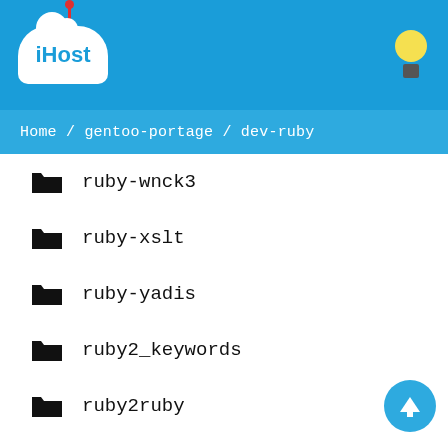[Figure (logo): iHost cloud hosting logo with white cloud shape and blue text on blue header background]
Home / gentoo-portage / dev-ruby
ruby-wnck3
ruby-xslt
ruby-yadis
ruby2_keywords
ruby2ruby
ruby_engine